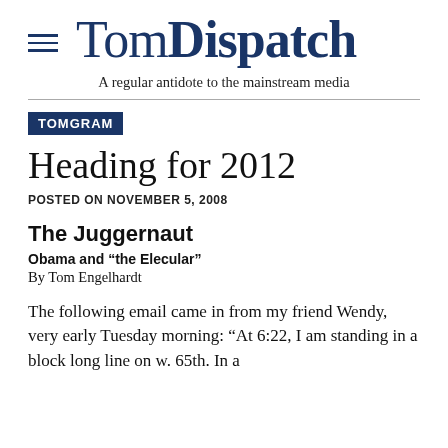TomDispatch — A regular antidote to the mainstream media
TOMGRAM
Heading for 2012
POSTED ON NOVEMBER 5, 2008
The Juggernaut
Obama and “the Elecular”
By Tom Engelhardt
The following email came in from my friend Wendy, very early Tuesday morning: “At 6:22, I am standing in a block long line on w. 65th. In a…